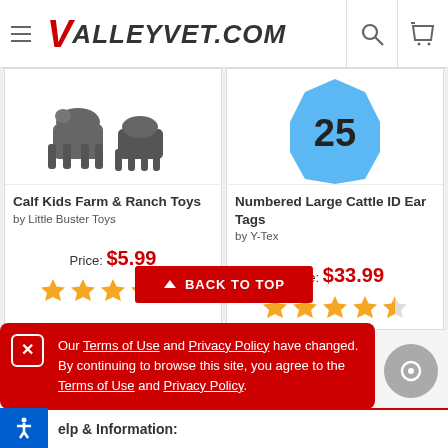VALLEYVET.COM
[Figure (screenshot): Partial product image of Calf Kids Farm & Ranch Toys showing animal figurines]
Calf Kids Farm & Ranch Toys by Little Buster Toys Price: $5.99
[Figure (screenshot): Partial product image of Numbered Large Cattle ID Ear Tags showing blue octagon tag with number 25]
Numbered Large Cattle ID Ear Tags by Y-Tex Price: $33.99
BACK TO TOP
Our Terms of Use and Privacy Policy have changed. By continuing to browse this site, you agree to the Terms of Use and Privacy Policy.
elp & Information: